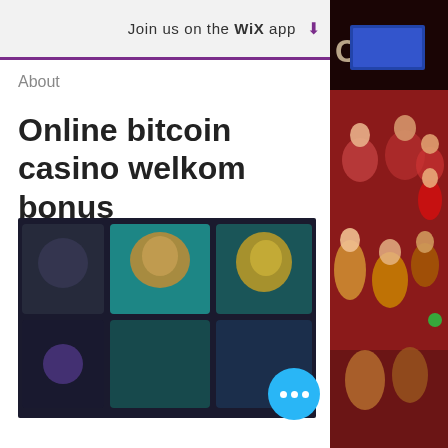Join us on the WiX app ⬇
About
Online bitcoin casino welkom bonus
Online bitcoin casino welkom bonus
[Figure (screenshot): Blurred screenshot of an online casino website showing game thumbnails with colorful game art in teal and dark tones, with a blue circular chat/menu button in the bottom right corner.]
[Figure (photo): Partial view of a crowd of people at an event or concert, in a red-lit venue, with partial text 'Cent' visible in the top right.]